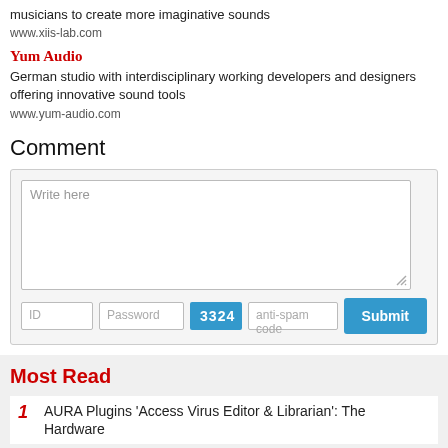musicians to create more imaginative sounds
www.xiis-lab.com
Yum Audio
German studio with interdisciplinary working developers and designers offering innovative sound tools
www.yum-audio.com
Comment
[Figure (screenshot): Comment form with textarea placeholder 'Write here', ID and Password fields, captcha displaying 3324, anti-spam code field, and Submit button]
Most Read
1 AURA Plugins 'Access Virus Editor & Librarian': The Hardware